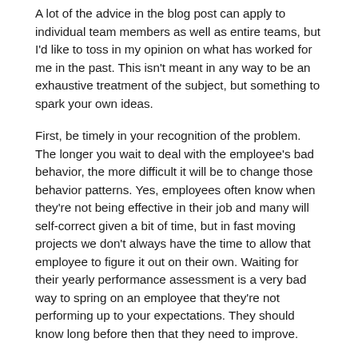A lot of the advice in the blog post can apply to individual team members as well as entire teams, but I'd like to toss in my opinion on what has worked for me in the past. This isn't meant in any way to be an exhaustive treatment of the subject, but something to spark your own ideas.
First, be timely in your recognition of the problem. The longer you wait to deal with the employee's bad behavior, the more difficult it will be to change those behavior patterns. Yes, employees often know when they're not being effective in their job and many will self-correct given a bit of time, but in fast moving projects we don't always have the time to allow that employee to figure it out on their own. Waiting for their yearly performance assessment is a very bad way to spring on an employee that they're not performing up to your expectations. They should know long before then that they need to improve.